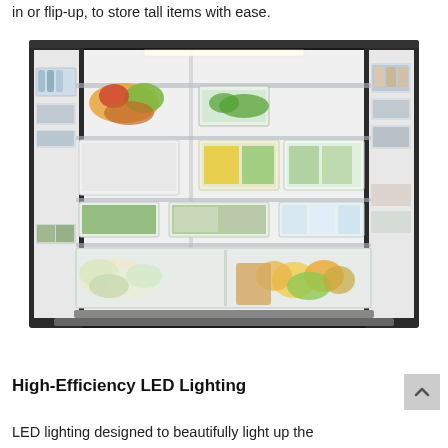in or flip-up, to store tall items with ease.
[Figure (photo): Open Samsung French door refrigerator filled with food and beverages, shown from the front with both doors open revealing multiple shelves, drawers, and door bins stocked with produce, containers, and bottles.]
High-Efficiency LED Lighting
LED lighting designed to beautifully light up the